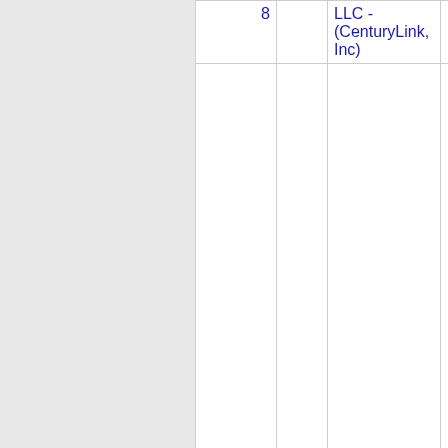| Number | State | Company Name | Code |
| --- | --- | --- | --- |
| 8 |  | LLC - (CenturyLink, Inc) |  |
| Thousands block for 385-444 |  |  |  |
| 385-444-2 | UT | LEVEL 3 COMMUNICATIONS, LLC - (CenturyLink, Inc) | 3231 |